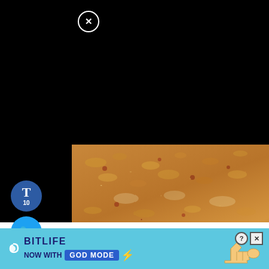[Figure (photo): Close-up photo of granola or nut mixture being mixed in a wooden bowl, with visible oats, nuts, and dried cranberries]
Mix with a spatula first, but then you really have to dig your hands in to mix everything together.
[Figure (screenshot): BitLife advertisement banner: NOW WITH GOD MODE, with blue and cyan background, lightning bolt graphic, and pointing hand illustration]